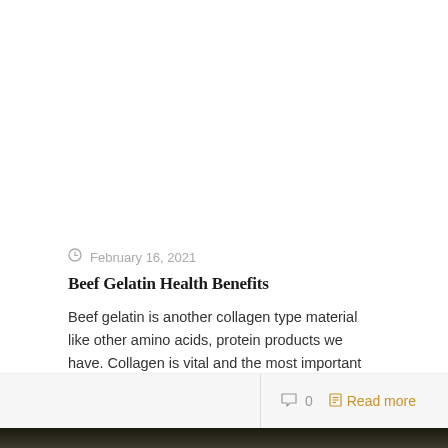February 16, 2021
Beef Gelatin Health Benefits
Beef gelatin is another collagen type material like other amino acids, protein products we have. Collagen is vital and the most important protein that is present in [...]
0  Read more
[Figure (photo): Bottom portion of a food or nature photograph, showing a dark background with light-colored subject at the bottom edge]